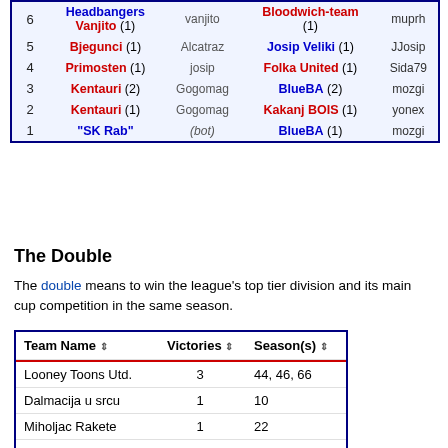|  | Team (wins) | User | Team (wins) | User |
| --- | --- | --- | --- | --- |
| 6 | Headbangers (1)
Vanjito | vanjito | Bloodwich-team (1) | muprh |
| 5 | Bjegunci (1) | Alcatraz | Josip Veliki (1) | JJosip |
| 4 | Primosten (1) | josip | Folka United (1) | Sida79 |
| 3 | Kentauri (2) | Gogomag | BlueBA (2) | mozgi |
| 2 | Kentauri (1) | Gogomag | Kakanj BOIS (1) | yonex |
| 1 | "SK Rab" | (bot) | BlueBA (1) | mozgi |
The Double
The double means to win the league's top tier division and its main cup competition in the same season.
| Team Name | Victories | Season(s) |
| --- | --- | --- |
| Looney Toons Utd. | 3 | 44, 46, 66 |
| Dalmacija u srcu | 1 | 10 |
| Miholjac Rakete | 1 | 22 |
| HNK Spori | 1 | 33 |
| nk Dugo Selo | 1 | 53 |